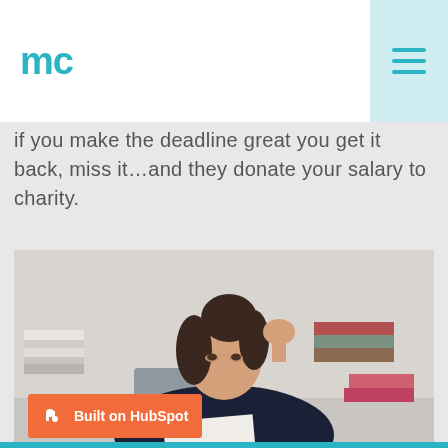mc (logo)
if you make the deadline great you get it back, miss it…and they donate your salary to charity.
[Figure (photo): A stressed woman with dark hair in a bun, resting her fist against her head while reading a book, surrounded by stacks of books.]
Built on HubSpot